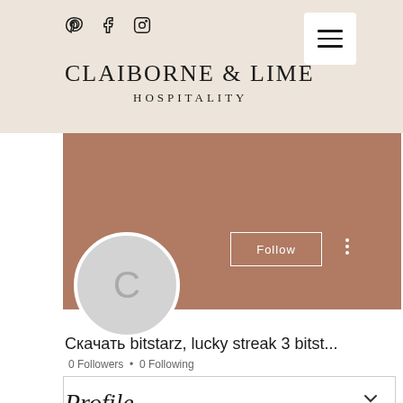[Figure (screenshot): Claiborne & Lime Hospitality website header with social media icons (Pinterest, Facebook, Instagram), hamburger menu button, and brand name in serif font on beige background]
[Figure (screenshot): Brown/terracotta banner section with Follow button and three-dot menu, overlapping with a gray circular avatar showing the letter C]
Скачать bitstarz, lucky streak 3 bitst...
0 Followers • 0 Following
[Figure (screenshot): Dropdown/collapsible box with a chevron down arrow]
Profile